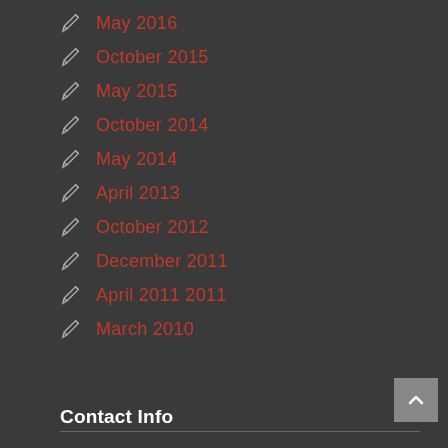May 2016
October 2015
May 2015
October 2014
May 2014
April 2013
October 2012
December 2011
April 2011 2011
March 2010
Contact Info